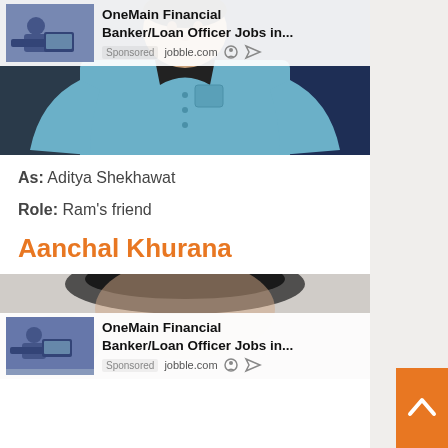[Figure (photo): Photo of a man wearing a light blue button-up shirt, standing against a dark background. An advertisement overlay for OneMain Financial Banker/Loan Officer Jobs is shown at the top of the photo. Sponsored label and jobble.com source shown.]
As: Aditya Shekhawat
Role: Ram's friend
Aanchal Khurana
[Figure (photo): Partial photo of a woman, mostly showing top of head/hair. An advertisement overlay for OneMain Financial Banker/Loan Officer Jobs is shown at the bottom. Sponsored label and jobble.com source shown. Orange scroll-to-top button on the right side.]